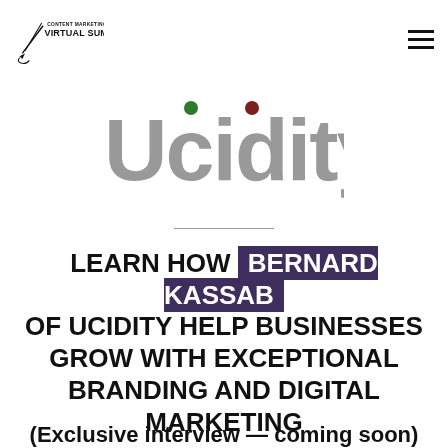CONTENT MARKETING VIRTUAL SUMMIT
[Figure (logo): Ucidity logo with green and dark red dots above 'c' and 't' in grey text]
LEARN HOW BERNARD KASSAB OF UCIDITY HELP BUSINESSES GROW WITH EXCEPTIONAL BRANDING AND DIGITAL MARKETING
(Exclusive interview — coming soon)